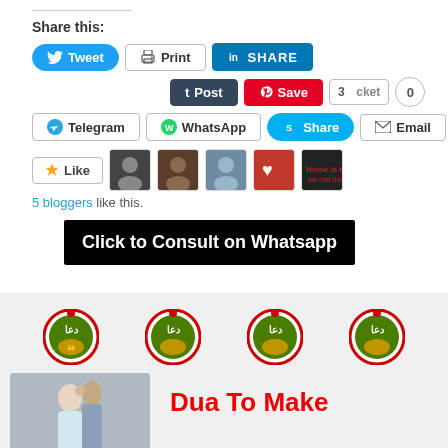Share this:
[Figure (screenshot): Social share buttons: Tweet, Print, LinkedIn SHARE, Tumblr Post, Pinterest Save, Pocket (3, 0), Telegram, WhatsApp, Skype Share, Email]
[Figure (screenshot): Like button with 5 blogger avatars]
5 bloggers like this.
[Figure (screenshot): Black banner: Click to Consult on Whatsapp]
[Figure (logo): Four dua logos arranged in a row]
[Figure (photo): Couple embracing photo on the left, and red text Dua To Make on the right]